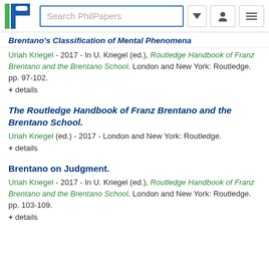Search PhilPapers
Brentano's Classification of Mental Phenomena
Uriah Kriegel - 2017 - In U. Kriegel (ed.), Routledge Handbook of Franz Brentano and the Brentano School. London and New York: Routledge. pp. 97-102.
+ details
The Routledge Handbook of Franz Brentano and the Brentano School.
Uriah Kriegel (ed.) - 2017 - London and New York: Routledge.
+ details
Brentano on Judgment.
Uriah Kriegel - 2017 - In U. Kriegel (ed.), Routledge Handbook of Franz Brentano and the Brentano School. London and New York: Routledge. pp. 103-109.
+ details